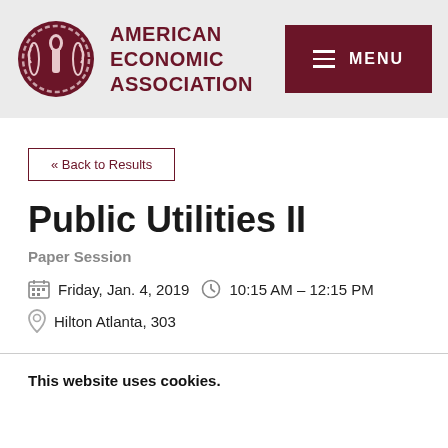AMERICAN ECONOMIC ASSOCIATION
« Back to Results
Public Utilities II
Paper Session
Friday, Jan. 4, 2019  10:15 AM – 12:15 PM
Hilton Atlanta, 303
This website uses cookies.